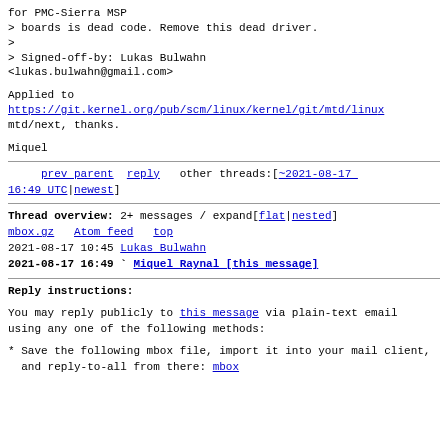for PMC-Sierra MSP
> boards is dead code. Remove this dead driver.
>
> Signed-off-by: Lukas Bulwahn
<lukas.bulwahn@gmail.com>
Applied to
https://git.kernel.org/pub/scm/linux/kernel/git/mtd/linux
mtd/next, thanks.
Miquel
prev parent   reply   other threads:[~2021-08-17 16:49 UTC|newest]
Thread overview: 2+ messages / expand[flat|nested]
mbox.gz   Atom feed   top
2021-08-17 10:45  Lukas Bulwahn
2021-08-17 16:49 ` Miquel Raynal [this message]
Reply instructions:
You may reply publicly to this message via plain-text email
using any one of the following methods:
* Save the following mbox file, import it into your mail client,
  and reply-to-all from there: mbox